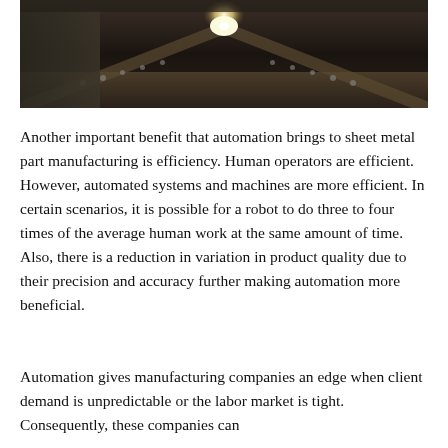[Figure (photo): Industrial manufacturing photo showing a worker near a long conveyor or production line with bright light (possibly welding or laser) in the center background, machinery and equipment visible]
Another important benefit that automation brings to sheet metal part manufacturing is efficiency. Human operators are efficient. However, automated systems and machines are more efficient. In certain scenarios, it is possible for a robot to do three to four times of the average human work at the same amount of time. Also, there is a reduction in variation in product quality due to their precision and accuracy further making automation more beneficial.
Automation gives manufacturing companies an edge when client demand is unpredictable or the labor market is tight. Consequently, these companies can